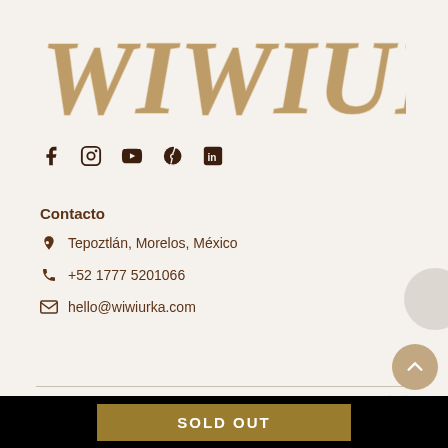[Figure (logo): WIWIURKA brand logo in wooden/twig-style lettering, brown/tan color]
[Figure (infographic): Row of social media icons: Facebook, Instagram, YouTube, Pinterest, LinkedIn in dark brown]
Contacto
Tepoztlán, Morelos, México
+52 1777 5201066
hello@wiwiurka.com
COMPANY
SUPPORT
SOLD OUT